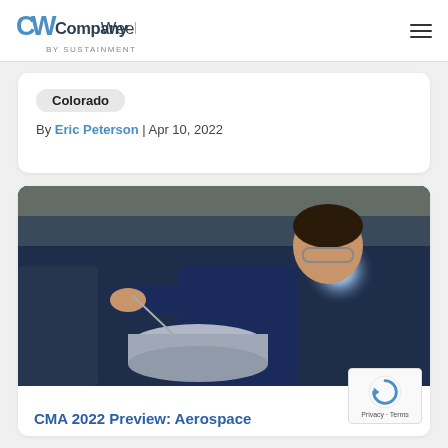CompanyWeek by Sustainment
Colorado
By Eric Peterson | Apr 10, 2022
[Figure (photo): A man in a blue long-sleeve shirt wearing safety glasses working on a metallic cylindrical component inside what appears to be an aerospace or engineering facility, with a bright light in the background.]
CMA 2022 Preview: Aerospace